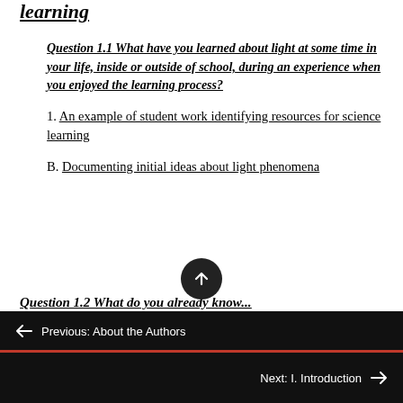learning
Question 1.1 What have you learned about light at some time in your life, inside or outside of school, during an experience when you enjoyed the learning process?
1. An example of student work identifying resources for science learning
B. Documenting initial ideas about light phenomena
Question 1.2 What do you already know...
← Previous: About the Authors
Next: I. Introduction →